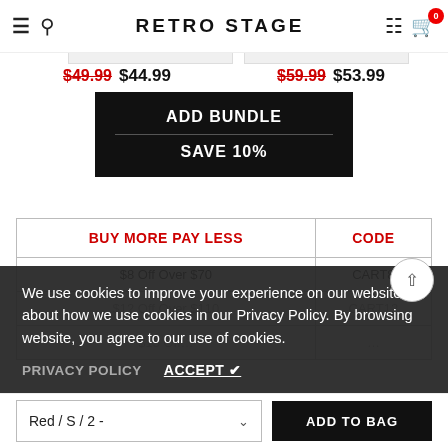RETRO STAGE
$49.99 $44.99  $59.99 $53.99
ADD BUNDLE
SAVE 10%
| BUY MORE PAY LESS | CODE |
| --- | --- |
| $8 Off Over $70 | CART8 |
| $12 Off Over $110 | CART12 |
| $15 Off ... | ... |
We use cookies to improve your experience on our website. Read about how we use cookies in our Privacy Policy. By browsing this website, you agree to our use of cookies.
PRIVACY POLICY   ACCEPT ✔
Red / S / 2 -
ADD TO BAG